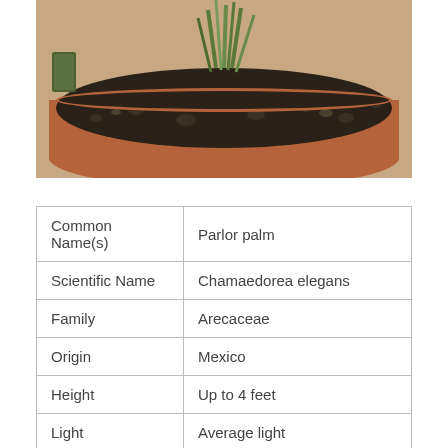[Figure (photo): Close-up photo of a potted plant with green grass-like shoots growing from dark soil in a terracotta pot]
| Common Name(s) | Parlor palm |
| Scientific Name | Chamaedorea elegans |
| Family | Arecaceae |
| Origin | Mexico |
| Height | Up to 4 feet |
| Light | Average light |
| Water | Average |